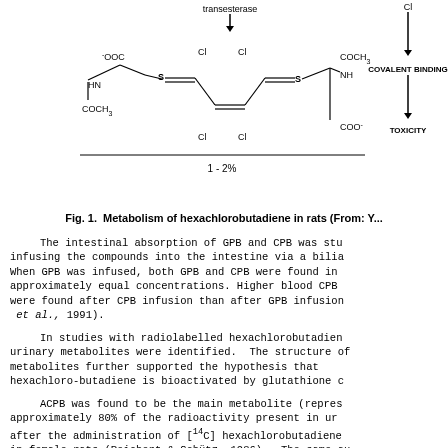[Figure (schematic): Chemical structure diagram showing the glutathione conjugate of hexachlorobutadiene with chlorine substituents, sulfur bridges, and functional groups (-OOC, HN, COCH3, COO-), labeled 1-2%, with an arrow pathway on the right showing Cl -> COVALENT BINDING -> TOXICITY, and a transesterase arrow at top.]
Fig. 1.  Metabolism of hexachlorobutadiene in rats (From: Y...
The intestinal absorption of GPB and CPB was stu infusing the compounds into the intestine via a bilia When GPB was infused, both GPB and CPB were found in approximately equal concentrations. Higher blood CPB were found after CPB infusion than after GPB infusion et al., 1991).
In studies with radiolabelled hexachlorobutadien urinary metabolites were identified. The structure of metabolites further supported the hypothesis that hexachloro-butadiene is bioactivated by glutathione c
ACPB was found to be the main metabolite (repres approximately 80% of the radioactivity present in ur after the administration of [14C] hexachlorobutadiene in female rats (Reichert & Schütz, 1986). The same au